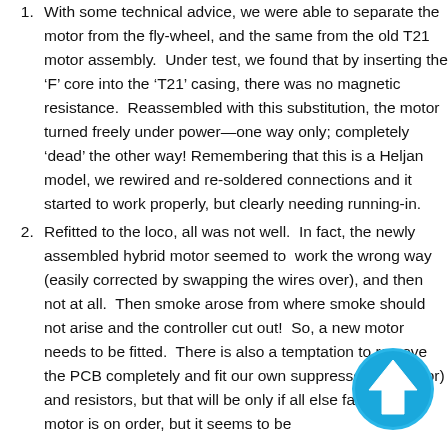With some technical advice, we were able to separate the motor from the fly-wheel, and the same from the old T21 motor assembly.  Under test, we found that by inserting the 'F' core into the 'T21' casing, there was no magnetic resistance.  Reassembled with this substitution, the motor turned freely under power—one way only; completely 'dead' the other way!  Remembering that this is a Heljan model, we rewired and re-soldered connections and it started to work properly, but clearly needing running-in.
Refitted to the loco, all was not well.  In fact, the newly assembled hybrid motor seemed to  work the wrong way (easily corrected by swapping the wires over), and then not at all.  Then smoke arose from where smoke should not arise and the controller cut out!  So, a new motor needs to be fitted.  There is also a temptation to remove the PCB completely and fit our own suppressor (capacitor) and resistors, but that will be only if all else fails.  A new motor is on order, but it seems to be
[Figure (illustration): A circular blue up-arrow button/icon in the bottom-right corner of the page]